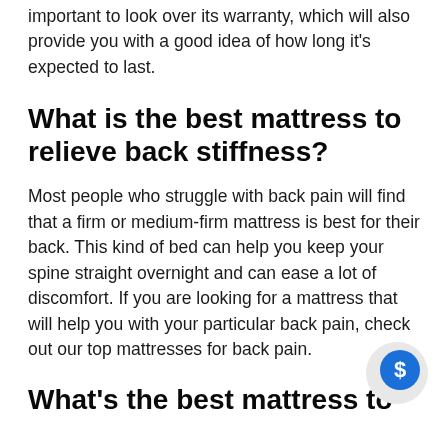important to look over its warranty, which will also provide you with a good idea of how long it's expected to last.
What is the best mattress to relieve back stiffness?
Most people who struggle with back pain will find that a firm or medium-firm mattress is best for their back. This kind of bed can help you keep your spine straight overnight and can ease a lot of discomfort. If you are looking for a mattress that will help you with your particular back pain, check out our top mattresses for back pain.
What's the best mattress to